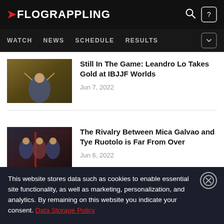FLOGRAPPLING — WATCH | NEWS | SCHEDULE | RESULTS
[Figure (screenshot): Thumbnail image of a grappling athlete celebrating with arms raised in a competition arena]
Still In The Game: Leandro Lo Takes Gold at IBJJF Worlds
Jun 7, 2022
[Figure (screenshot): Thumbnail image of multiple grappling athletes standing together at a competition]
The Rivalry Between Mica Galvao and Tye Ruotolo is Far From Over
Jun 6, 2022
This website stores data such as cookies to enable essential site functionality, as well as marketing, personalization, and analytics. By remaining on this website you indicate your consent. Data Storage Policy